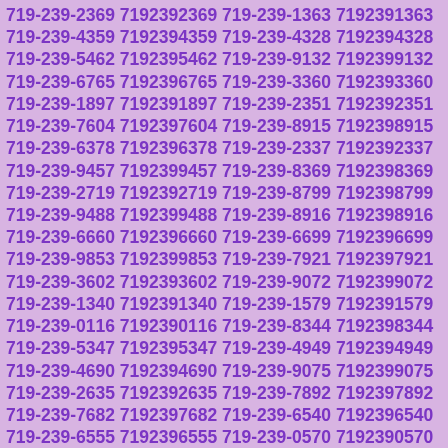719-239-2369 7192392369 719-239-1363 7192391363 719-239-4359 7192394359 719-239-4328 7192394328 719-239-5462 7192395462 719-239-9132 7192399132 719-239-6765 7192396765 719-239-3360 7192393360 719-239-1897 7192391897 719-239-2351 7192392351 719-239-7604 7192397604 719-239-8915 7192398915 719-239-6378 7192396378 719-239-2337 7192392337 719-239-9457 7192399457 719-239-8369 7192398369 719-239-2719 7192392719 719-239-8799 7192398799 719-239-9488 7192399488 719-239-8916 7192398916 719-239-6660 7192396660 719-239-6699 7192396699 719-239-9853 7192399853 719-239-7921 7192397921 719-239-3602 7192393602 719-239-9072 7192399072 719-239-1340 7192391340 719-239-1579 7192391579 719-239-0116 7192390116 719-239-8344 7192398344 719-239-5347 7192395347 719-239-4949 7192394949 719-239-4690 7192394690 719-239-9075 7192399075 719-239-2635 7192392635 719-239-7892 7192397892 719-239-7682 7192397682 719-239-6540 7192396540 719-239-6555 7192396555 719-239-0570 7192390570 719-239-7033 7192397033 719-239-0114 7192390114